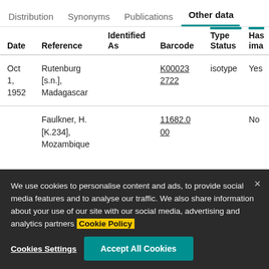Distribution   Synonyms   Publications   Other data
| Date | Reference | Identified As | Barcode | Type Status | Has image |
| --- | --- | --- | --- | --- | --- |
| Oct 1, 1952 | Rutenburg [s.n.], Madagascar |  | K000232722 | isotype | Yes |
|  | Faulkner, H. [K.234], Mozambique |  | 11682.000 |  | No |
We use cookies to personalise content and ads, to provide social media features and to analyse our traffic. We also share information about your use of our site with our social media, advertising and analytics partners Cookie Policy
Cookies Settings   Accept All Cookies